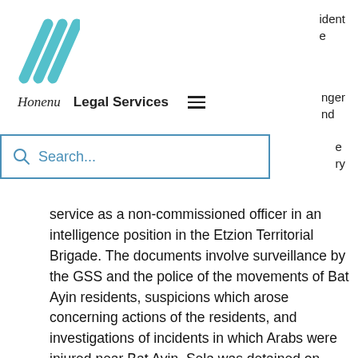[Figure (logo): Honenu organization logo - teal/cyan colored diagonal lines forming a stylized mark]
ident e
nger nd
Honenu   Legal Services
Search...
e ry
service as a non-commissioned officer in an intelligence position in the Etzion Territorial Brigade. The documents involve surveillance by the GSS and the police of the movements of Bat Ayin residents, suspicions which arose concerning actions of the residents, and investigations of incidents in which Arabs were injured near Bat Ayin. Sela was detained on March 10.